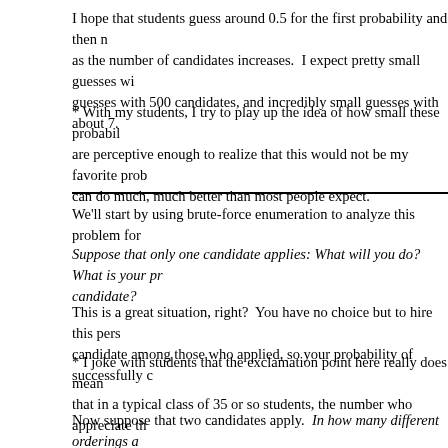I hope that students guess around 0.5 for the first probability and then notice that it decreases as the number of candidates increases. I expect pretty small guesses with 500 candidates, and incredibly small guesses with about 7.
* With my students, I try to play up the idea of how small these probabilities are. Students who are perceptive enough to realize that this would not be my favorite problem if we can do much, much better than most people expect.
We'll start by using brute-force enumeration to analyze this problem for
Suppose that only one candidate applies: What will you do? What is your probability of hiring the best candidate?
This is a great situation, right? You have no choice but to hire this person, and they are the best candidate among those who applied, so your probability of successfully choosing
* I joke with students that the exclamation point here really does mean factorial. I find that in a typical class of 35 or so students, the number who appreciate th
Now suppose that two candidates apply. In how many different orderings a
The answer to possible orderings is: The best candidates are often f